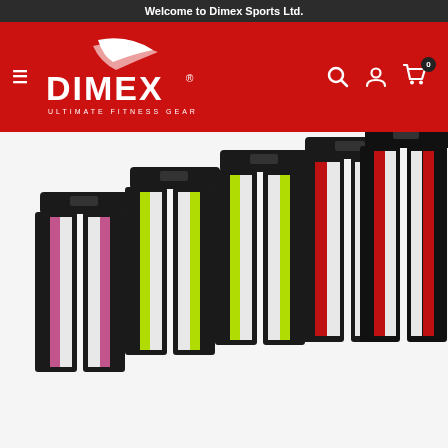Welcome to Dimex Sports Ltd.
[Figure (logo): Dimex Sports Ltd. logo with swoosh graphic, white text on red background, subtitle ULTIMATE FITNESS GEAR]
[Figure (photo): Five pairs of black martial arts / sports pants arranged in a fan layout, each featuring different colored side stripes: pink/white, yellow-green/white, yellow-green/white, red/white, red/white on black base fabric]